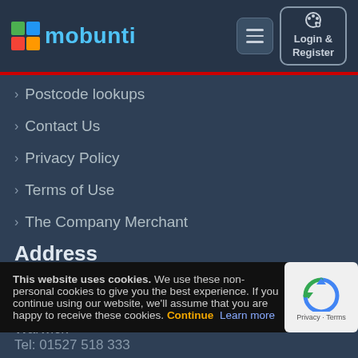mobunti — Login & Register
› Postcode lookups
› Contact Us
› Privacy Policy
› Terms of Use
› The Company Merchant
Address
Mobunti Limited
1 Chapel Street,
Warwick
This website uses cookies. We use these non-personal cookies to give you the best experience. If you continue using our website, we'll assume that you are happy to receive these cookies. Continue  Learn more
Tel: 01527 518 333